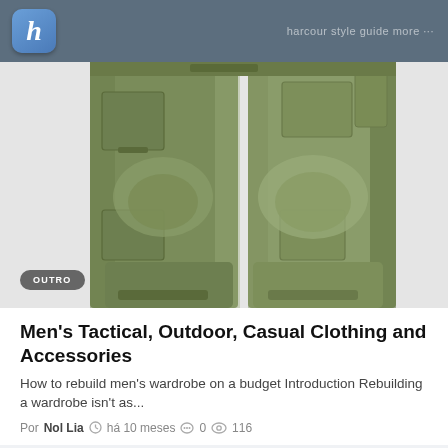h — harcour style guide more ...
[Figure (photo): Lower body of a person wearing olive/khaki tactical cargo pants with multiple pockets and knee pad reinforcements, photographed against a white background. An 'OUTRO' badge overlays the bottom-left of the image.]
Men's Tactical, Outdoor, Casual Clothing and Accessories
How to rebuild men's wardrobe on a budget Introduction Rebuilding a wardrobe isn't as...
Por Nol Lia  há 10 meses  0  116